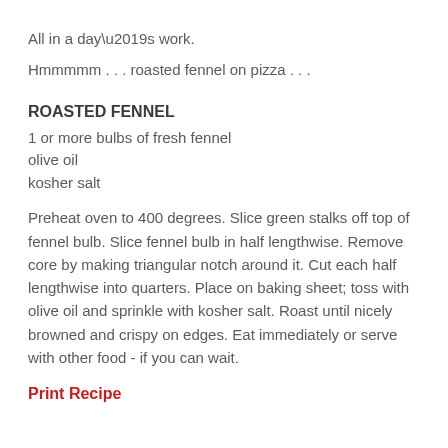All in a day’s work.
Hmmmmm . . . roasted fennel on pizza . . .
ROASTED FENNEL
1 or more bulbs of fresh fennel
olive oil
kosher salt
Preheat oven to 400 degrees. Slice green stalks off top of fennel bulb. Slice fennel bulb in half lengthwise. Remove core by making triangular notch around it. Cut each half lengthwise into quarters. Place on baking sheet; toss with olive oil and sprinkle with kosher salt. Roast until nicely browned and crispy on edges. Eat immediately or serve with other food - if you can wait.
Print Recipe